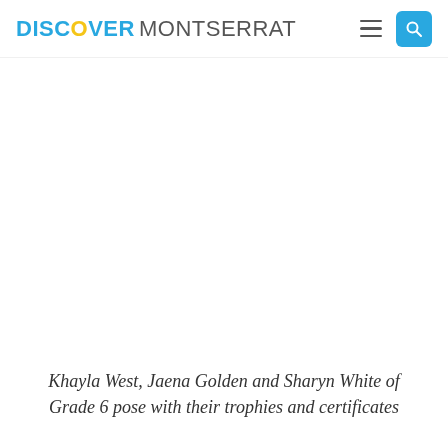DISCOVER MONTSERRAT
[Figure (photo): Photo area (white/blank) showing students posing with trophies and certificates]
Khayla West, Jaena Golden and Sharyn White of Grade 6 pose with their trophies and certificates